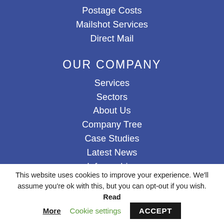Postage Costs
Mailshot Services
Direct Mail
OUR COMPANY
Services
Sectors
About Us
Company Tree
Case Studies
Latest News
Infographics
Video Vault
This website uses cookies to improve your experience. We'll assume you're ok with this, but you can opt-out if you wish. Read More
Cookie settings
ACCEPT